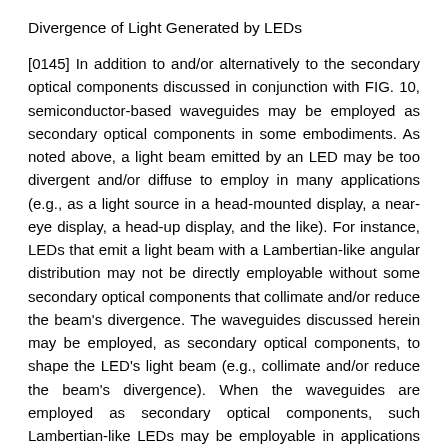Divergence of Light Generated by LEDs
[0145] In addition to and/or alternatively to the secondary optical components discussed in conjunction with FIG. 10, semiconductor-based waveguides may be employed as secondary optical components in some embodiments. As noted above, a light beam emitted by an LED may be too divergent and/or diffuse to employ in many applications (e.g., as a light source in a head-mounted display, a near-eye display, a head-up display, and the like). For instance, LEDs that emit a light beam with a Lambertian-like angular distribution may not be directly employable without some secondary optical components that collimate and/or reduce the beam's divergence. The waveguides discussed herein may be employed, as secondary optical components, to shape the LED's light beam (e.g., collimate and/or reduce the beam's divergence). When the waveguides are employed as secondary optical components, such Lambertian-like LEDs may be employable in applications that require a relatively